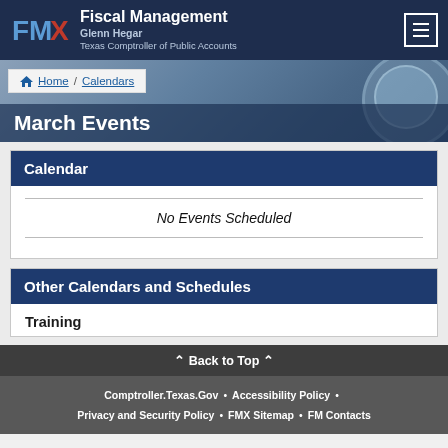Fiscal Management — Glenn Hegar — Texas Comptroller of Public Accounts
Home / Calendars
March Events
Calendar
No Events Scheduled
Other Calendars and Schedules
Training
⌃ Back to Top ⌃
Comptroller.Texas.Gov • Accessibility Policy • Privacy and Security Policy • FMX Sitemap • FM Contacts